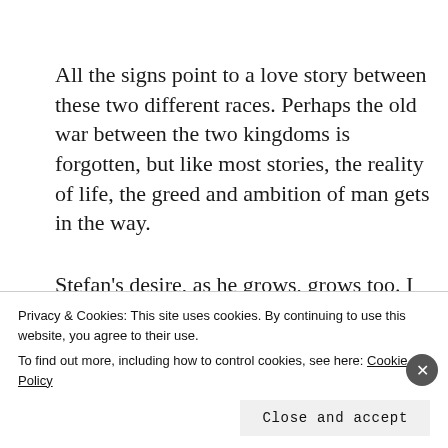All the signs point to a love story between these two different races. Perhaps the old war between the two kingdoms is forgotten, but like most stories, the reality of life, the greed and ambition of man gets in the way.
Stefan's desire, as he grows, grows too. I never would have considered, watching the Disney version as a
Privacy & Cookies: This site uses cookies. By continuing to use this website, you agree to their use.
To find out more, including how to control cookies, see here: Cookie Policy